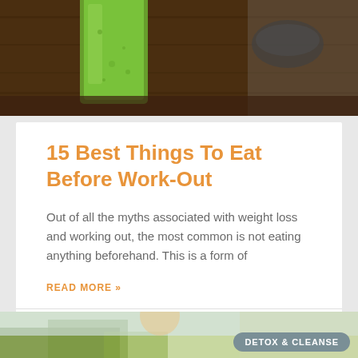[Figure (photo): Top portion of a photo showing a green smoothie/drink in a glass on a wooden surface, with a blurred background]
15 Best Things To Eat Before Work-Out
Out of all the myths associated with weight loss and working out, the most common is not eating anything beforehand. This is a form of
READ MORE »
May 2, 2017
[Figure (photo): Bottom portion showing the top of a second article with a person outdoors among trees, with a 'DETOX & CLEANSE' badge/label in the lower right]